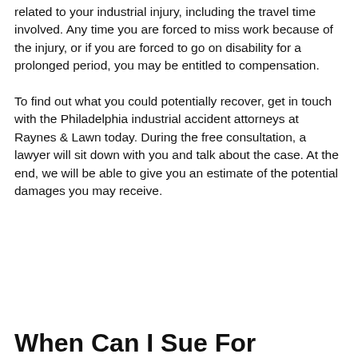related to your industrial injury, including the travel time involved. Any time you are forced to miss work because of the injury, or if you are forced to go on disability for a prolonged period, you may be entitled to compensation.
To find out what you could potentially recover, get in touch with the Philadelphia industrial accident attorneys at Raynes & Lawn today. During the free consultation, a lawyer will sit down with you and talk about the case. At the end, we will be able to give you an estimate of the potential damages you may receive.
When Can I Sue For